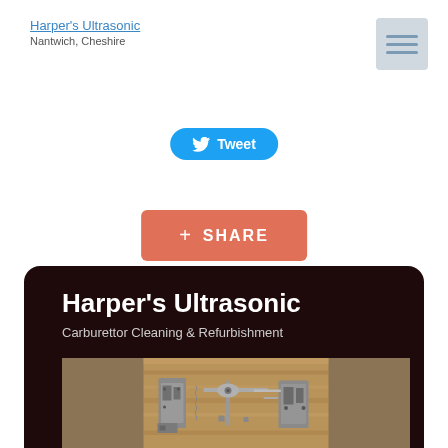Harper's Ultrasonic
Nantwich, Cheshire
[Figure (screenshot): Menu/hamburger button icon with three horizontal lines on grey background]
[Figure (screenshot): Twitter Tweet button in blue rounded pill shape with bird icon]
[Figure (screenshot): Google+ Share button in coral/salmon color with plus icon]
[Figure (photo): Dark card containing Harper's Ultrasonic branding with subtitle 'Carburettor Cleaning & Refurbishment' and a photo of carburetor parts on a wooden surface]